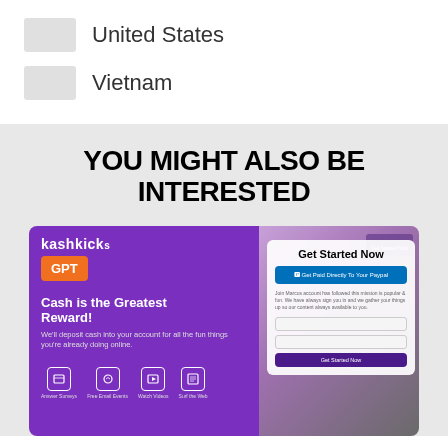United States
Vietnam
YOU MIGHT ALSO BE INTERESTED
[Figure (screenshot): KashKick GPT promotional card showing 'Cash is the Greatest Reward!' with a Get Started Now signup panel on the right side.]